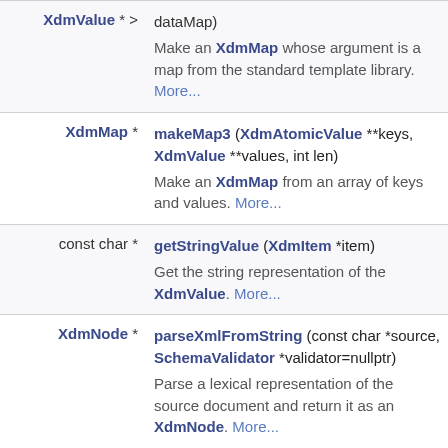| Return Type | Function/Description |
| --- | --- |
| XdmValue * > | dataMap)
Make an XdmMap whose argument is a map from the standard template library. More... |
| XdmMap * | makeMap3 (XdmAtomicValue **keys, XdmValue **values, int len)
Make an XdmMap from an array of keys and values. More... |
| const char * | getStringValue (XdmItem *item)
Get the string representation of the XdmValue. More... |
| XdmNode * | parseXmlFromString (const char *source, SchemaValidator *validator=nullptr)
Parse a lexical representation of the source document and return it as an XdmNode. More... |
| XdmNode * | parseXmlFromFile (const char *source, SchemaValidator *validator=nullptr)
Parse a source document file and return |